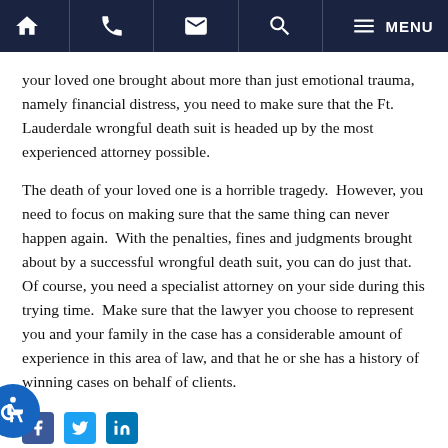Home | Phone | Email | Search | Menu
your loved one brought about more than just emotional trauma, namely financial distress, you need to make sure that the Ft. Lauderdale wrongful death suit is headed up by the most experienced attorney possible.
The death of your loved one is a horrible tragedy. However, you need to focus on making sure that the same thing can never happen again. With the penalties, fines and judgments brought about by a successful wrongful death suit, you can do just that. Of course, you need a specialist attorney on your side during this trying time. Make sure that the lawyer you choose to represent you and your family in the case has a considerable amount of experience in this area of law, and that he or she has a history of winning cases on behalf of clients.
[Figure (illustration): Accessibility icon - blue circle with white wheelchair symbol]
[Figure (illustration): Social media icons: Facebook (blue), Twitter (light blue), LinkedIn (dark blue)]